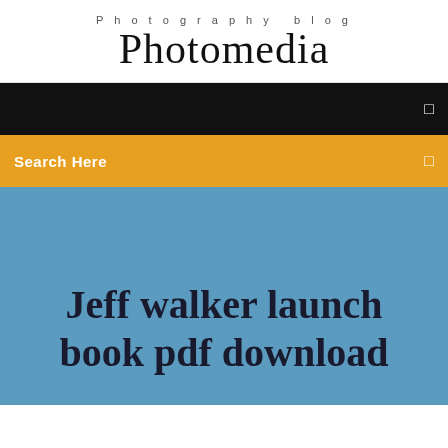Photography blog
Photomedia
☰
Search Here ☰
Jeff walker launch book pdf download